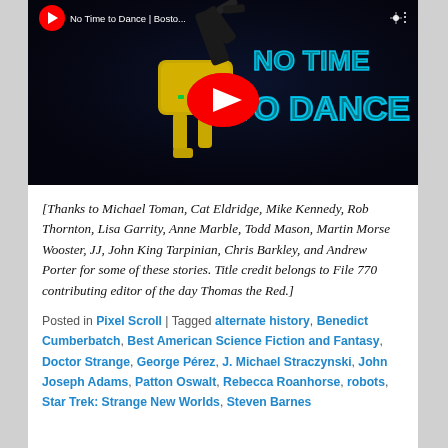[Figure (screenshot): YouTube video thumbnail for 'No Time to Dance | Bosto...' showing a Boston Dynamics robot (Spot) with yellow body against a dark background with neon blue text 'NO TIME TO DANCE'. A red YouTube play button is centered on the image. The YouTube logo and video title appear in the top-left corner.]
[Thanks to Michael Toman, Cat Eldridge, Mike Kennedy, Rob Thornton, Lisa Garrity, Anne Marble, Todd Mason, Martin Morse Wooster, JJ, John King Tarpinian, Chris Barkley, and Andrew Porter for some of these stories. Title credit belongs to File 770 contributing editor of the day Thomas the Red.]
Posted in Pixel Scroll | Tagged alternate history, Benedict Cumberbatch, Best American Science Fiction and Fantasy, Doctor Strange, George Pérez, J. Michael Straczynski, John Joseph Adams, Patton Oswalt, Rebecca Roanhorse, robots, Star Trek: Strange New Worlds, Steven Barnes